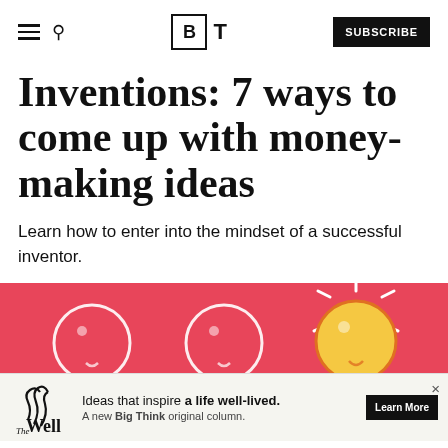BT - Big Think - SUBSCRIBE
Inventions: 7 ways to come up with money-making ideas
Learn how to enter into the mindset of a successful inventor.
[Figure (illustration): Pink/red background illustration showing three light bulbs in a row. The third bulb on the right is lit up yellow with orange outline and radiating lines indicating it is on. The first two bulbs are unlit, shown as white outlines. The image represents inventions and ideas.]
Ideas that inspire a life well-lived. A new Big Think original column. Learn More